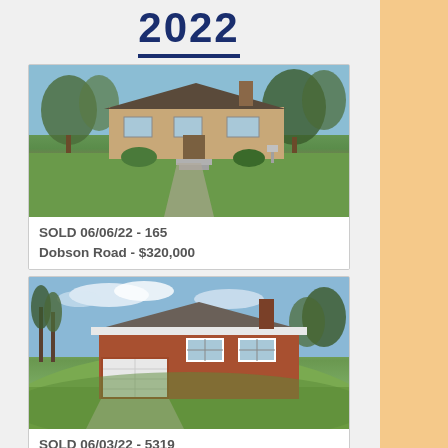2022
[Figure (photo): Ranch style brick house with green lawn and trees, exterior photo]
SOLD 06/06/22 - 165 Dobson Road - $320,000
[Figure (photo): Brick ranch house with white garage door on green hill, exterior photo]
SOLD 06/03/22 - 5319 Clearview Ave - $240,000